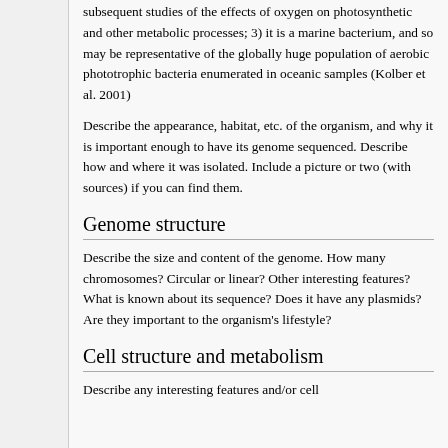subsequent studies of the effects of oxygen on photosynthetic and other metabolic processes; 3) it is a marine bacterium, and so may be representative of the globally huge population of aerobic phototrophic bacteria enumerated in oceanic samples (Kolber et al. 2001)
Describe the appearance, habitat, etc. of the organism, and why it is important enough to have its genome sequenced. Describe how and where it was isolated. Include a picture or two (with sources) if you can find them.
Genome structure
Describe the size and content of the genome. How many chromosomes? Circular or linear? Other interesting features? What is known about its sequence? Does it have any plasmids? Are they important to the organism's lifestyle?
Cell structure and metabolism
Describe any interesting features and/or cell